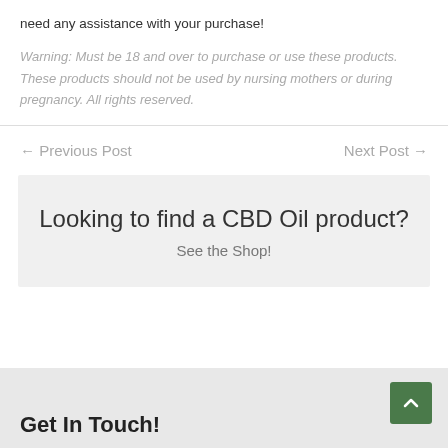need any assistance with your purchase!
Warning: Must be 18 and over to purchase or use these products. These products should not be used by nursing mothers or during pregnancy. All rights reserved.
← Previous Post
Next Post →
Looking to find a CBD Oil product?
See the Shop!
Get In Touch!